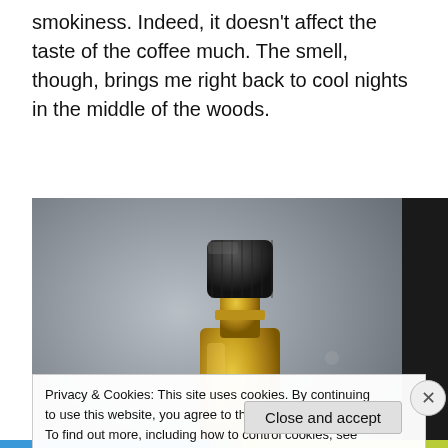smokiness. Indeed, it doesn't affect the taste of the coffee much. The smell, though, brings me right back to cool nights in the middle of the woods.
[Figure (photo): Close-up photo of the top of a small golden/brass bottle with a black ridged screw cap, on a metallic grey surface.]
Privacy & Cookies: This site uses cookies. By continuing to use this website, you agree to their use.
To find out more, including how to control cookies, see here: Cookie Policy
Close and accept
WordPress.com